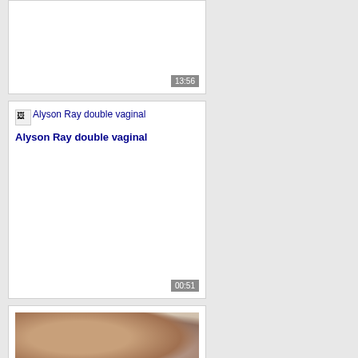[Figure (screenshot): Video thumbnail card with timestamp 13:56, white background, no image loaded]
[Figure (screenshot): Video card for 'Alyson Ray double vaginal' with broken image icon and timestamp 00:51]
Alyson Ray double vaginal
[Figure (photo): Video thumbnail card showing partial photo of two people]